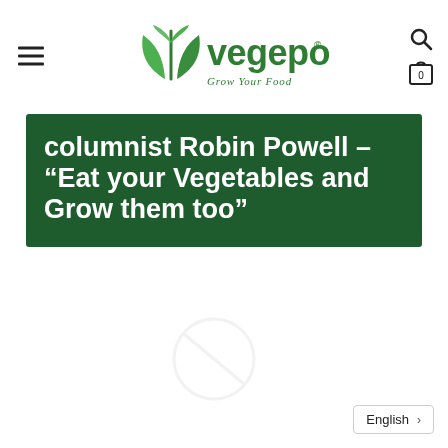vegepod — Grow Your Food
columnist Robin Powell – "Eat your Vegetables and Grow them too"
[Figure (logo): Vegepod logo with green leaf icon and tagline 'Grow Your Food']
English